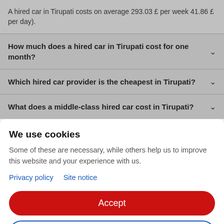A hired car in Tirupati costs on average 293.03 £ per week 41.86 £ per day).
How much does a hired car in Tirupati cost for one month?
Which hired car provider is the cheapest in Tirupati?
What does a middle-class hired car cost in Tirupati?
We use cookies
Some of these are necessary, while others help us to improve this website and your experience with us.
Privacy policy   Site notice
Accept
Settings